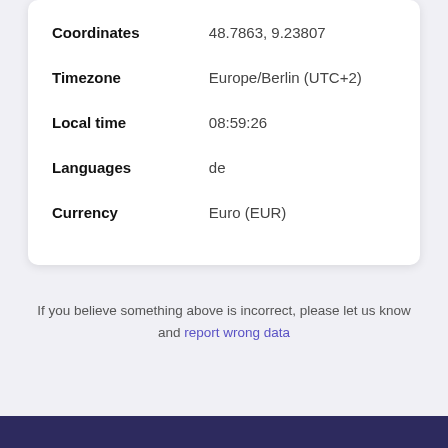| Field | Value |
| --- | --- |
| Coordinates | 48.7863, 9.23807 |
| Timezone | Europe/Berlin (UTC+2) |
| Local time | 08:59:26 |
| Languages | de |
| Currency | Euro (EUR) |
If you believe something above is incorrect, please let us know and report wrong data